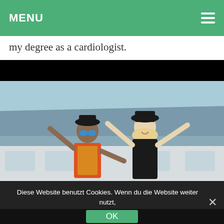MENU
my degree as a cardiologist.
[Figure (photo): Two people with arms raised joyfully outdoors in front of a building with a metal roof. One person wears a colorful African print top with a bowler hat and blue mirrored sunglasses; the other is a blonde woman in a black hat and black outfit, smiling broadly.]
Diese Website benutzt Cookies. Wenn du die Website weiter nutzt, gehen wir von deinem Einverständnis aus.